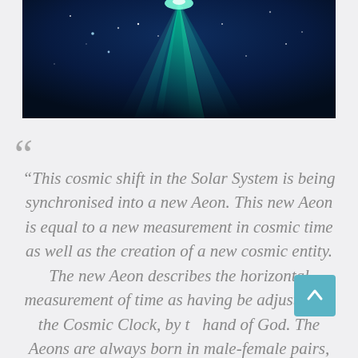[Figure (photo): Dark space/aurora borealis image with green and teal light rays emanating from top center against a deep blue-black starry sky]
“This cosmic shift in the Solar System is being synchronised into a new Aeon. This new Aeon is equal to a new measurement in cosmic time as well as the creation of a new cosmic entity. The new Aeon describes the horizontal measurement of time as having be adjusted by the Cosmic Clock, by th hand of God. The Aeons are always born in male-female pairs, each of which is in